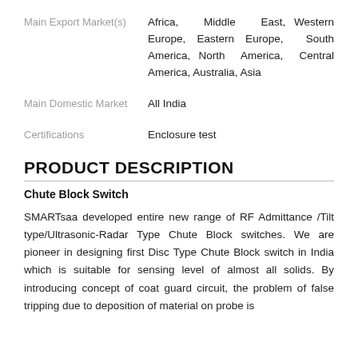Main Export Market(s): Africa, Middle East, Western Europe, Eastern Europe, South America, North America, Central America, Australia, Asia
Main Domestic Market: All India
Certifications: Enclosure test
PRODUCT DESCRIPTION
Chute Block Switch
SMARTsaa developed entire new range of RF Admittance /Tilt type/Ultrasonic-Radar Type Chute Block switches. We are pioneer in designing first Disc Type Chute Block switch in India which is suitable for sensing level of almost all solids. By introducing concept of coat guard circuit, the problem of false tripping due to deposition of material on probe is